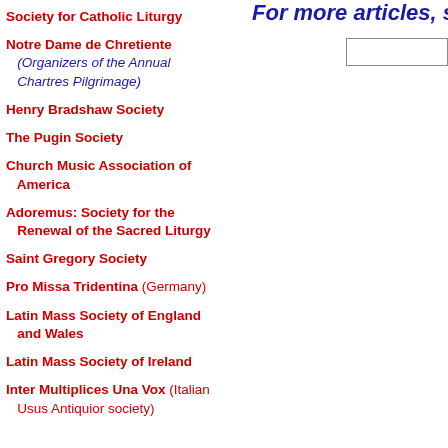For more articles, sc
Society for Catholic Liturgy
Notre Dame de Chretiente (Organizers of the Annual Chartres Pilgrimage)
Henry Bradshaw Society
The Pugin Society
Church Music Association of America
Adoremus: Society for the Renewal of the Sacred Liturgy
Saint Gregory Society
Pro Missa Tridentina (Germany)
Latin Mass Society of England and Wales
Latin Mass Society of Ireland
Inter Multiplices Una Vox (Italian Usus Antiquior society)